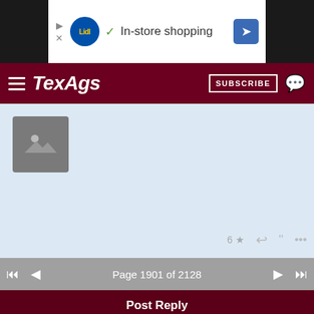[Figure (screenshot): Lidl ad banner: In-store shopping with Lidl logo, checkmark, and navigation arrow icon]
TexAgs — SUBSCRIBE
[Figure (photo): Image placeholder with mountain/landscape icon on light blue background with post action icons: 6 star, reply, quote, more]
Page 1901 of 2128
Post Reply
Forums   MLB & Other Baseball
[Figure (infographic): Game card: Toronto Blue Jays vs Pittsburgh Pirates, September 02, 2022 at 10:35 PM, PNC Park. Tabs: Spread, Totals, Money Line]